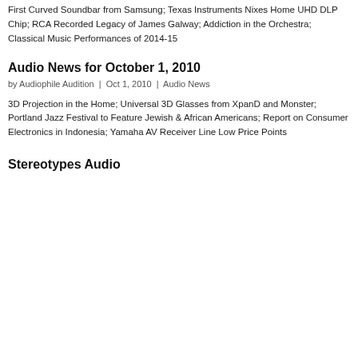First Curved Soundbar from Samsung; Texas Instruments Nixes Home UHD DLP Chip; RCA Recorded Legacy of James Galway; Addiction in the Orchestra; Classical Music Performances of 2014-15
Audio News for October 1, 2010
by Audiophile Audition | Oct 1, 2010 | Audio News
3D Projection in the Home; Universal 3D Glasses from XpanD and Monster; Portland Jazz Festival to Feature Jewish & African Americans; Report on Consumer Electronics in Indonesia; Yamaha AV Receiver Line Low Price Points
Stereotypes Audio